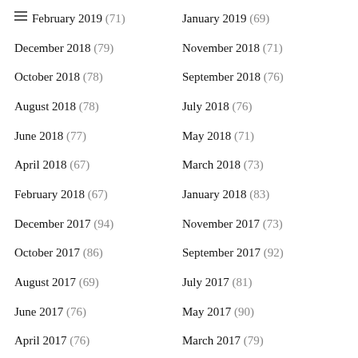February 2019 (71)
January 2019 (69)
December 2018 (79)
November 2018 (71)
October 2018 (78)
September 2018 (76)
August 2018 (78)
July 2018 (76)
June 2018 (77)
May 2018 (71)
April 2018 (67)
March 2018 (73)
February 2018 (67)
January 2018 (83)
December 2017 (94)
November 2017 (73)
October 2017 (86)
September 2017 (92)
August 2017 (69)
July 2017 (81)
June 2017 (76)
May 2017 (90)
April 2017 (76)
March 2017 (79)